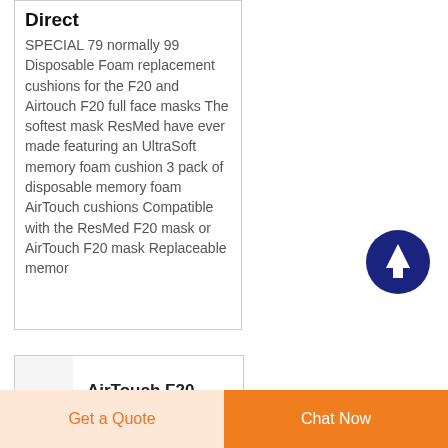Direct
SPECIAL 79 normally 99 Disposable Foam replacement cushions for the F20 and Airtouch F20 full face masks The softest mask ResMed have ever made featuring an UltraSoft memory foam cushion 3 pack of disposable memory foam AirTouch cushions Compatible with the ResMed F20 mask or AirTouch F20 mask Replaceable memor
[Figure (other): Dark navy blue circular button with white upward arrow icon (scroll to top button)]
AirTouch F20
Get a Quote
Chat Now